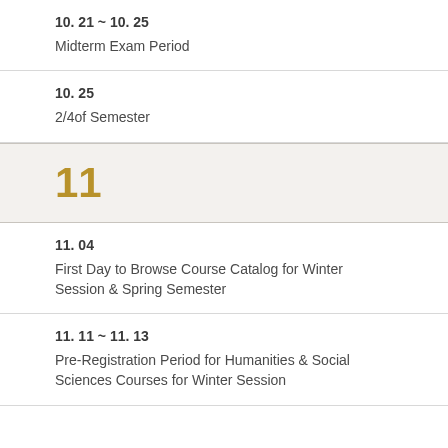10. 21 ~ 10. 25
Midterm Exam Period
10. 25
2/4of Semester
11
11. 04
First Day to Browse Course Catalog for Winter Session & Spring Semester
11. 11 ~ 11. 13
Pre-Registration Period for Humanities & Social Sciences Courses for Winter Session